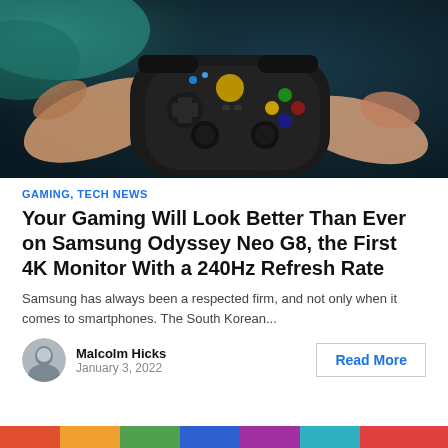[Figure (photo): Close-up photo of hands holding an Xbox game controller against a dark background with teal/blue tones]
GAMING, TECH NEWS
Your Gaming Will Look Better Than Ever on Samsung Odyssey Neo G8, the First 4K Monitor With a 240Hz Refresh Rate
Samsung has always been a respected firm, and not only when it comes to smartphones. The South Korean...
Malcolm Hicks
January 3, 2022
Read More
[Figure (photo): Partial colorful image visible at the bottom of the page]